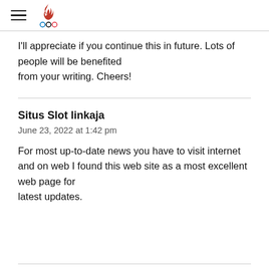[Bahrain Olympic Committee logo with hamburger menu]
I'll appreciate if you continue this in future. Lots of people will be benefited from your writing. Cheers!
Situs Slot linkaja
June 23, 2022 at 1:42 pm
For most up-to-date news you have to visit internet and on web I found this web site as a most excellent web page for latest updates.